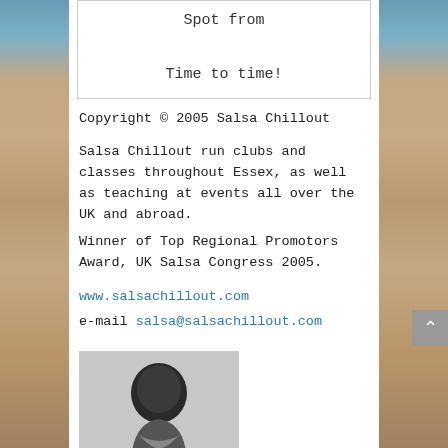Spot from

Time to time!
Copyright © 2005 Salsa Chillout
Salsa Chillout run clubs and classes throughout Essex, as well as teaching at events all over the UK and abroad.
Winner of Top Regional Promotors Award, UK Salsa Congress 2005.
www.salsachillout.com
e-mail salsa@salsachillout.com
[Figure (photo): Black and white photo of a person, cropped at the top of the frame]